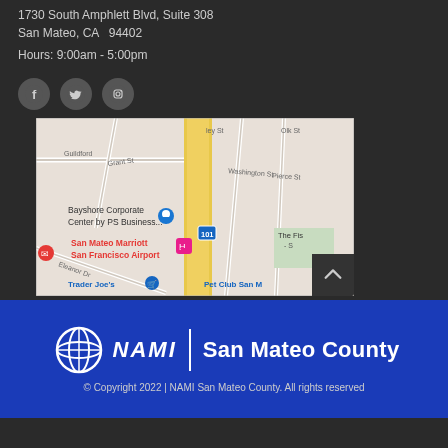NAMI San Mateo County
1730 South Amphlett Blvd, Suite 308
San Mateo, CA  94402
Hours: 9:00am - 5:00pm
[Figure (other): Social media icons: Facebook, Twitter, Instagram in circular dark buttons]
[Figure (map): Google Maps screenshot showing area around 1730 South Amphlett Blvd, San Mateo. Shows Bayshore Corporate Center by PS Business..., San Mateo Marriott San Francisco Airport, Trader Joe's, Pet Club San M, The Fis, route 101, with streets including Guildford, Grant St, Washington St, Pierce St, Eleanor Dr]
[Figure (logo): NAMI San Mateo County logo with circular globe icon and italic NAMI text, vertical white divider, and 'San Mateo County' text in white on blue background]
© Copyright 2022 | NAMI San Mateo County. All rights reserved